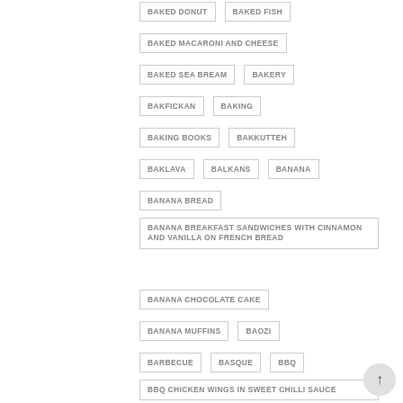BAKED DONUT
BAKED FISH
BAKED MACARONI AND CHEESE
BAKED SEA BREAM
BAKERY
BAKFICKAN
BAKING
BAKING BOOKS
BAKKUTTEH
BAKLAVA
BALKANS
BANANA
BANANA BREAD
BANANA BREAKFAST SANDWICHES WITH CINNAMON AND VANILLA ON FRENCH BREAD
BANANA CHOCOLATE CAKE
BANANA MUFFINS
BAOZI
BARBECUE
BASQUE
BBQ
BBQ CHICKEN WINGS IN SWEET CHILLI SAUCE
BBQ PORK
BEAN SALAD